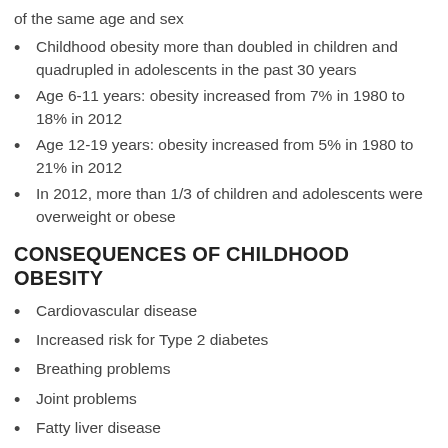of the same age and sex
Childhood obesity more than doubled in children and quadrupled in adolescents in the past 30 years
Age 6-11 years: obesity increased from 7% in 1980 to 18% in 2012
Age 12-19 years: obesity increased from 5% in 1980 to 21% in 2012
In 2012, more than 1/3 of children and adolescents were overweight or obese
CONSEQUENCES OF CHILDHOOD OBESITY
Cardiovascular disease
Increased risk for Type 2 diabetes
Breathing problems
Joint problems
Fatty liver disease